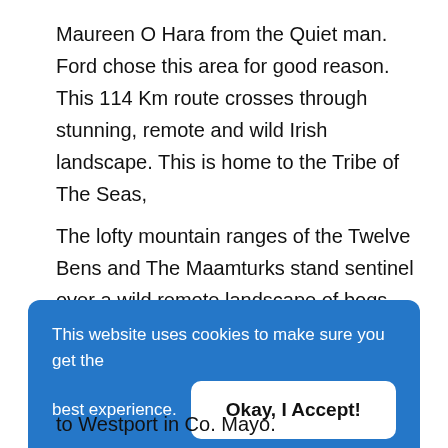Maureen O Hara from the Quiet man. Ford chose this area for good reason. This 114 Km route crosses through stunning, remote and wild Irish landscape. This is home to the Tribe of The Seas,
The lofty mountain ranges of the Twelve Bens and The Maamturks stand sentinel over a wild remote landscape of bogs and small loughs.
This website uses cookies to make sure you get the best experience. Okay, I Accept! Privacy Policy
to Westport in Co. Mayo.